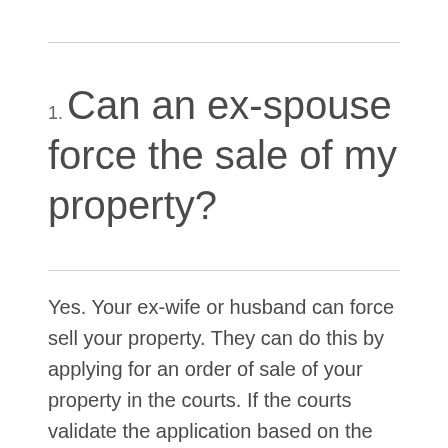1. Can an ex-spouse force the sale of my property?
Yes. Your ex-wife or husband can force sell your property. They can do this by applying for an order of sale of your property in the courts. If the courts validate the application based on the elements outlined under section 15 of the Trusts of land and Appointment of Trustees Act 1996...